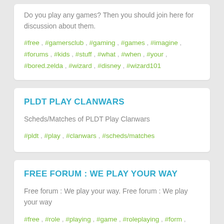Do you play any games? Then you should join here for discussion about them.
#free , #gamersclub , #gaming , #games , #imagine , #forums , #kids , #stuff , #what , #when , #your , #bored.zelda , #wizard , #disney , #wizard101
PLDT PLAY CLANWARS
Scheds/Matches of PLDT Play Clanwars
#pldt , #play , #clanwars , #scheds/matches
FREE FORUM : WE PLAY YOUR WAY
Free forum : We play your way. Free forum : We play your way
#free , #role , #playing , #game , #roleplaying , #form , ...